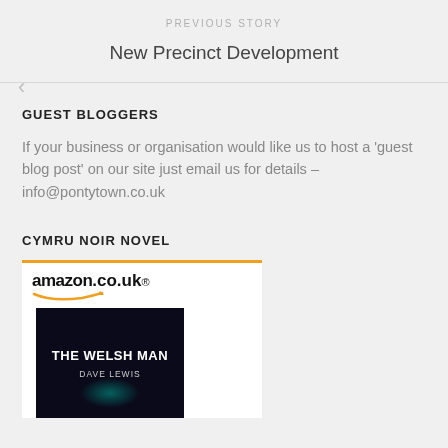PREVIOUS STORY
New Precinct Development
GUEST BLOGGERS
If your business or organisation would like us to host a 'guest blog post' on our site just email us for details – info@pontytown.co.uk
CYMRU NOIR NOVEL
[Figure (other): Amazon.co.uk product listing image showing the book 'The Welsh Man' by Dave Lewis with a dark cover featuring a neon-lit street scene]